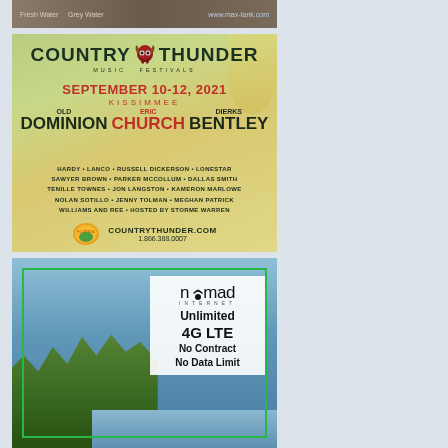[Figure (photo): Advertisement for max-tank.com showing Fresh Water and Grey Water tank with outdoor/dirt background. URL www.max-tank.com visible.]
[Figure (illustration): Country Thunder Music Festival advertisement for September 10-12, 2021 in Kissimmee. Headliners: Old Dominion, Eric Church, Dierks Bentley. Supporting acts: Hardy, Lanco, Russell Dickerson, Lonestar, Sawyer Brown, Parker McCollum, Dallas Smith, Tenille Townes, Jon Langston, Kameron Marlowe, Nolan Sotillo, Jenny Tolman, Meghan Patrick, Williams and Ree. Hosted by Storme Warren. Website: countrythunder.com, Phone: 1.866.388.0007]
[Figure (photo): Nomad Internet advertisement with mountain lake and forest background. Green border frame. White card overlay with nomad internet logo, text: Unlimited 4G LTE, No Contract, No Data Limit]